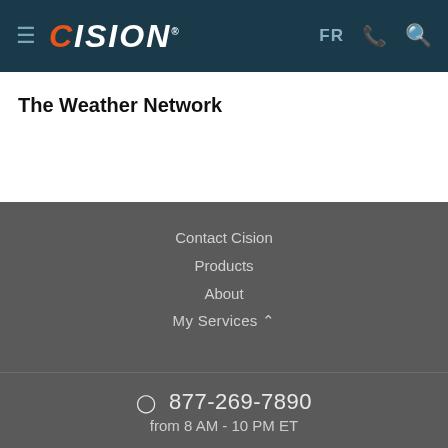CISION — Navigation header with FR, phone, and search icons
The Weather Network
Contact Cision
Products
About
My Services
877-269-7890 from 8 AM - 10 PM ET
Terms of Use | Information Security Policy | Site Map | Cookie Settings | Accessibility Statement | Copyright © 2022 CNW Group Ltd. All Rights Reserved. A Cision company